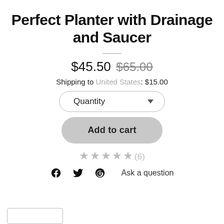Perfect Planter with Drainage and Saucer
$45.50  $65.00
Shipping to United States: $15.00
Quantity
Add to cart
★★★★★(6)
Ask a question